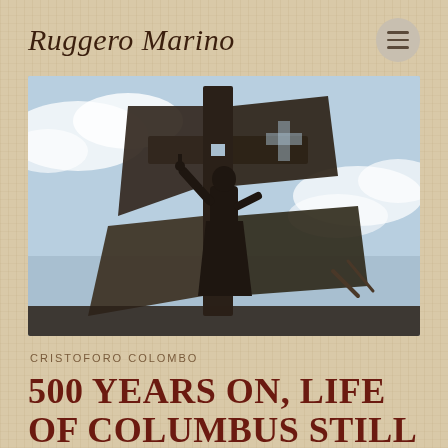Ruggero Marino
[Figure (photo): Dark metallic statue of Christopher Columbus holding a cross aloft, with abstract angular metalwork surrounding the figure, against a cloudy blue sky backdrop.]
CRISTOFORO COLOMBO
500 YEARS ON, LIFE OF COLUMBUS STILL